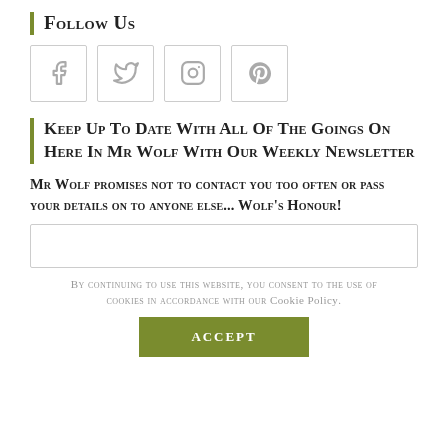Follow Us
[Figure (other): Four social media icon boxes: Facebook, Twitter, Instagram, Pinterest]
Keep Up To Date With All Of The Goings On Here In Mr Wolf With Our Weekly Newsletter
Mr Wolf promises not to contact you too often or pass your details on to anyone else... Wolf's Honour!
[email input field]
By continuing to use this website, you consent to the use of cookies in accordance with our Cookie Policy.
Accept